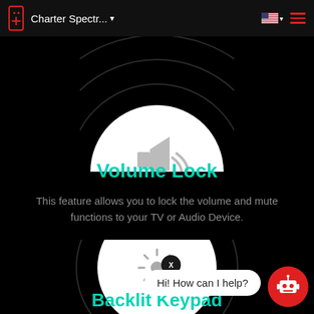Charter Spectr...
[Figure (illustration): Volume lock icon: speaker icon inside a white circle with concentric dark rings, partially cropped at top]
Volume Lock
This feature allows you to lock the volume and mute functions to your TV or Audio Device.
[Figure (illustration): Backlit keypad icon: sun/light icon inside a white circle with concentric dark rings]
Backlit Keypad
Hi! How can I help?